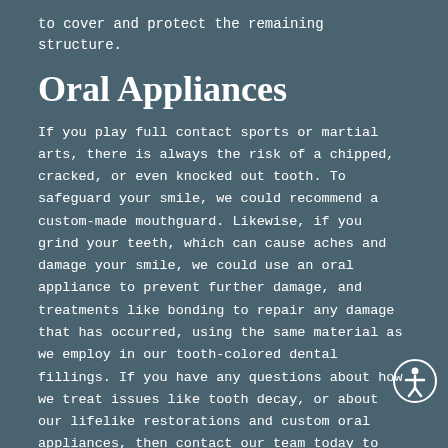to cover and protect the remaining structure.
Oral Appliances
If you play full contact sports or martial arts, there is always the risk of a chipped, cracked, or even knocked out tooth. To safeguard your smile, we could recommend a custom-made mouthguard. Likewise, if you grind your teeth, which can cause aches and damage your smile, we could use an oral appliance to prevent further damage, and treatments like bonding to repair any damage that has occurred, using the same material as we employ in our tooth-colored dental fillings. If you have any questions about how we treat issues like tooth decay, or about our lifelike restorations and custom oral appliances, then contact our team today to learn more.
Do You Need to Schedule a